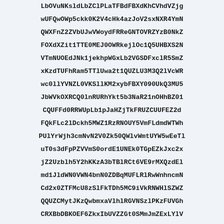LbOVuNKsldLbZClPLaTFBdFBXdKhCVhdVZjg
wUFQwOWp5ckk0K2V4cHk4azJoV2sxNXR4YmN
QWXFnZ2ZVbUJwVWoydFRReGNTOVRZYzB0NkZ
FOXdXZit1TTE0MEJ0OWRkejlOc1Q5UHBXS2N
VTmNUOEdJNk1jekhpWGxLb2VGSDFxclR5SmZ
xKzdTUFhRam5TTlUwa2t1QUZLU3M3Q2lVcWR
wc0llYVNZL0VKSllKM2xybFBXY090UkQ3MU5
JbWVkOXRCQ0lnRURhYkt5b3NaR21nOHhBZ01
CQUFFd0RRWUpLb1pJaHZjTkFRUZCUUFEZ2d
FQkFLc2lDckh5MWZ1RzRNOUY5VmFLdmdWTWh
PUlYrWjh3cmNvN2V0Zk50QWlvWmtUYW5wEeTl
uT0s3dFpPZVVmS0ordE1UNEk0TGpEZkJxc2x
jZ2Uzblh5Y2hKKzA3bTBlRCt6VE9rMXQzdEl
md1JldWN0VWN4bnN0ZDBqMUFLRlRwWnhncmN
Cd2x0ZTFMcU8zSlFkTDh5MC9iVkRNWHlSZWZ
QQUZCMytJKzQwbmxaVlhlRGVNSzlPKzFUVGh
CRXB0bDBKOEF6ZkxIbUVZZGt0SMmJmZExLYlV
Nb25aUEk0dUNCUTRDMHNxc2gzM3dHOWVNcVB
MSkhOaClaNTVjUVN0NW3thWdOS1RtREVKWlR